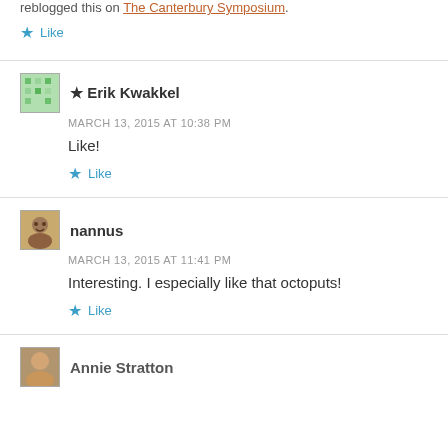Reblogged this on The Canterbury Symposium.
Like
★ Erik Kwakkel
MARCH 13, 2015 AT 10:38 PM
Like!
Like
nannus
MARCH 13, 2015 AT 11:41 PM
Interesting. I especially like that octoputs!
Like
Annie Stratton